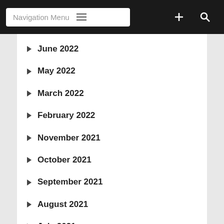Navigation Menu
June 2022
May 2022
March 2022
February 2022
November 2021
October 2021
September 2021
August 2021
July 2021
May 2021
April 2021
March 2021
December 2020